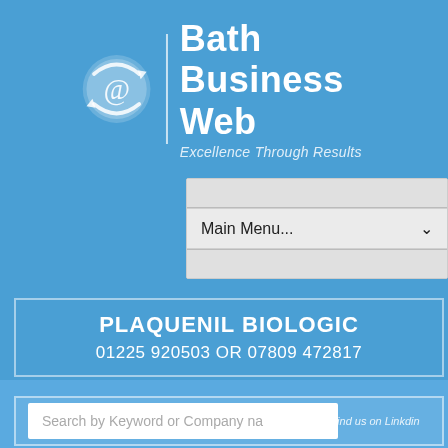[Figure (logo): Bath Business Web logo with @ symbol icon, vertical divider, company name 'Bath Business Web' and tagline 'Excellence Through Results']
Main Menu...
PLAQUENIL BIOLOGIC
01225 920503 OR 07809 472817
[Figure (illustration): Social media icons: Find us on Facebook, Follow us on Twitter, Find us on Linkedin]
Search by Keyword or Company name